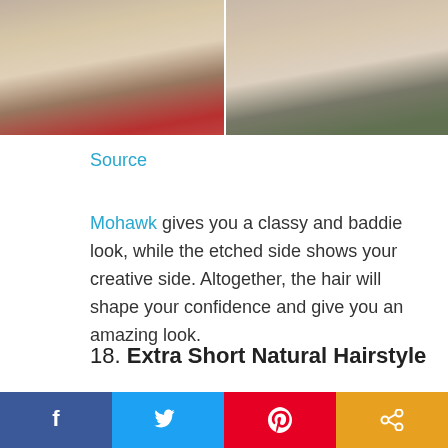[Figure (photo): Two side-by-side photos of women with Mohawk hairstyles with etched sides]
Source
Mohawk gives you a classy and baddie look, while the etched side shows your creative side. Altogether, the hair will shape your confidence and give you an amazing look.
18. Extra Short Natural Hairstyle
[Figure (photo): Photo of a person with an extra short natural hairstyle]
[Figure (infographic): Social sharing bar with Facebook, Twitter, Pinterest, and share buttons]